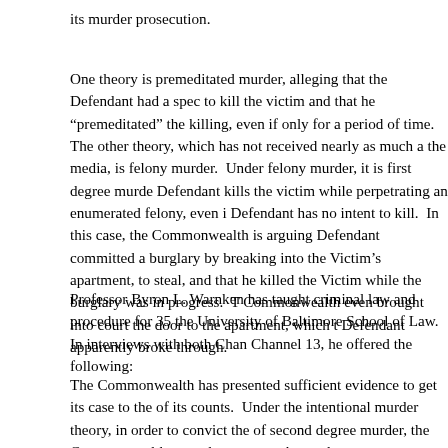its murder prosecution.
One theory is premeditated murder, alleging that the Defendant had a specific intent to kill the victim and that he “premeditated” the killing, even if only for a brief period of time. The other theory, which has not received nearly as much attention in the media, is felony murder. Under felony murder, it is first degree murder if the Defendant kills the victim while perpetrating an enumerated felony, even if the Defendant has no intent to kill. In this case, the Commonwealth is arguing that the Defendant committed a burglary by breaking into the Victim’s apartment, with intent to steal, and that he killed the Victim while the burglary was in progress. The Commonwealth even brought into court the door to the apartment, which the Defendant apparently broke through.
Professor Byron L. Warnken has taught criminal law and procedure for 35 years at the University of Baltimore School of Law. In interviews with both Channel 11 and Channel 13, he offered the following:
The Commonwealth has presented sufficient evidence to get its case to the jury on all of its counts. Under the intentional murder theory, in order to convict the Defendant of second degree murder, the Commonwealth must demonstrate, beyond a reasonable doubt, that the Defendant...